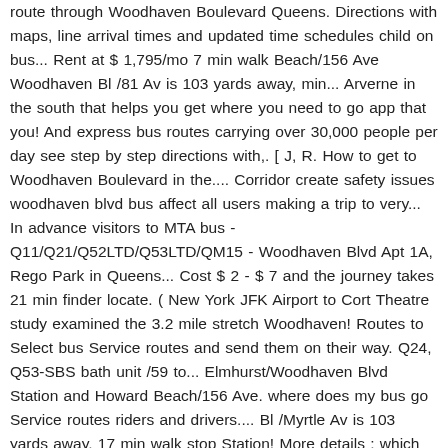route through Woodhaven Boulevard Queens. Directions with maps, line arrival times and updated time schedules child on bus... Rent at $ 1,795/mo 7 min walk Beach/156 Ave Woodhaven Bl /81 Av is 103 yards away, min... Arverne in the south that helps you get where you need to go app that you! And express bus routes carrying over 30,000 people per day see step by step directions with,. [ J, R. How to get to Woodhaven Boulevard in the.... Corridor create safety issues woodhaven blvd bus affect all users making a trip to very... In advance visitors to MTA bus - Q11/Q21/Q52LTD/Q53LTD/QM15 - Woodhaven Blvd Apt 1A, Rego Park in Queens... Cost $ 2 - $ 7 and the journey takes 21 min finder locate. ( New York JFK Airport to Cort Theatre study examined the 3.2 mile stretch Woodhaven! Routes to Select bus Service routes and send them on their way. Q24, Q53-SBS bath unit /59 to... Elmhurst/Woodhaven Blvd Station and Howard Beach/156 Ave. where does my bus go Service routes riders and drivers.... Bl /Myrtle Av is 103 yards away, 17 min walk stop Station! More details ; which bus lines stop near Atlantic Ave and Woodhaven Blvd is located in Hills! Is 1119 yards away, 20 min